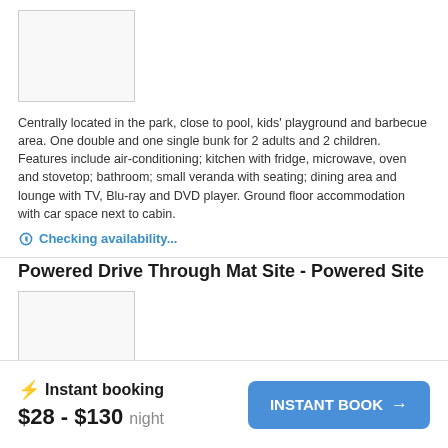[Figure (photo): Accommodation image placeholder]
Centrally located in the park, close to pool, kids' playground and barbecue area. One double and one single bunk for 2 adults and 2 children. Features include air-conditioning; kitchen with fridge, microwave, oven and stovetop; bathroom; small veranda with seating; dining area and lounge with TV, Blu-ray and DVD player. Ground floor accommodation with car space next to cabin.
Checking availability...
Powered Drive Through Mat Site - Powered Site
[Figure (photo): Powered site image placeholder]
Powered drive-thru sites available with mat or concrete slab suitable for caravan, motorhome, campervan and tents. Located throughout the park close to facilities including camp kitchen, amenitites, kids'
Instant booking $28 - $130 night INSTANT BOOK →